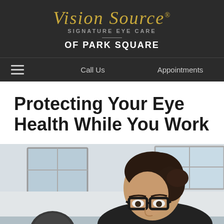Vision Source SIGNATURE EYE CARE OF PARK SQUARE
Call Us    Appointments
Protecting Your Eye Health While You Work
[Figure (photo): A woman with dark hair wearing black-rimmed glasses, looking down at a screen or desk in an office setting. She is wearing a dark top. Office environment with windows in the background.]